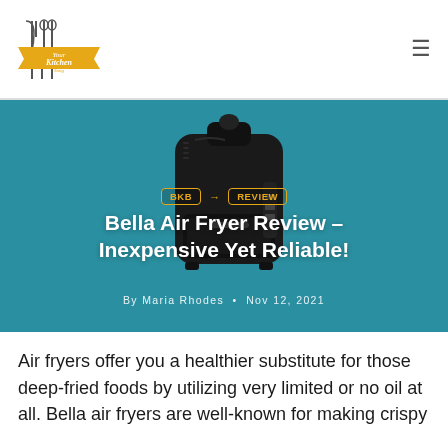Your Kitchen Song [logo] ☰
[Figure (photo): Black Bella air fryer appliance on teal/dark cyan background]
BKB → REVIEW
Bella Air Fryer Review – Inexpensive Yet Reliable!
By Maria Rhodes • Nov 12, 2021
Air fryers offer you a healthier substitute for those deep-fried foods by utilizing very limited or no oil at all. Bella air fryers are well-known for making crispy